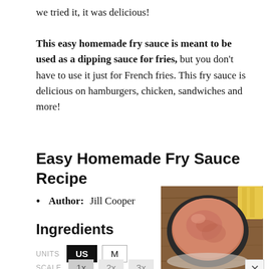we tried it, it was delicious!
This easy homemade fry sauce is meant to be used as a dipping sauce for fries, but you don't have to use it just for French fries. This fry sauce is delicious on hamburgers, chicken, sandwiches and more!
Easy Homemade Fry Sauce Recipe
Author: Jill Cooper
Ingredients
UNITS  US  M
SCALE  1x  2x  3x
[Figure (photo): Overhead view of a bowl of fry sauce (pinkish-orange creamy dip) in a dark bowl, with what appears to be fries nearby on a wooden surface.]